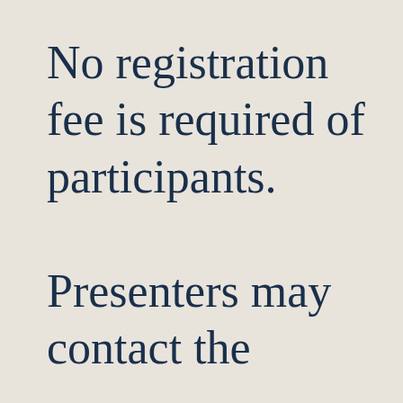No registration fee is required of participants. Presenters may contact the